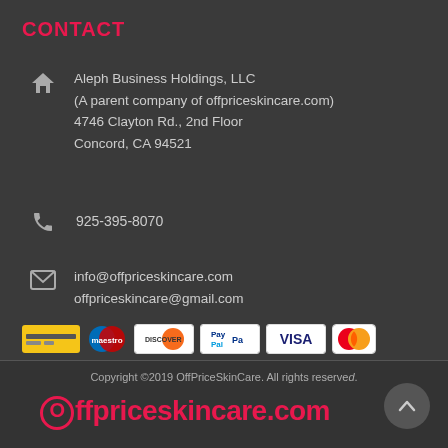CONTACT
Aleph Business Holdings, LLC
(A parent company of offpriceskincare.com)
4746 Clayton Rd., 2nd Floor
Concord, CA 94521
925-395-8070
info@offpriceskincare.com
offpriceskincare@gmail.com
[Figure (other): Payment method badges: stripe/card, Maestro, Discover, PayPal, Visa, Mastercard]
Copyright ©2019 OffPriceSkinCare. All rights reserved.
Offpriceskincare.com